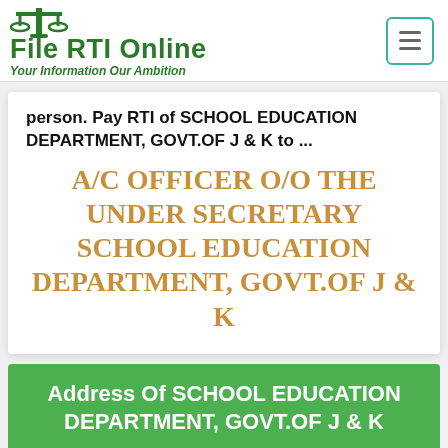[Figure (logo): File RTI Online logo with scales of justice icon and tagline 'Your Information Our Ambition']
person. Pay RTI of SCHOOL EDUCATION DEPARTMENT, GOVT.OF J & K to ...
A/C OFFICER O/O THE UNDER SECRETARY SCHOOL EDUCATION DEPARTMENT, GOVT.OF J & K
Address Of SCHOOL EDUCATION DEPARTMENT, GOVT.OF J & K